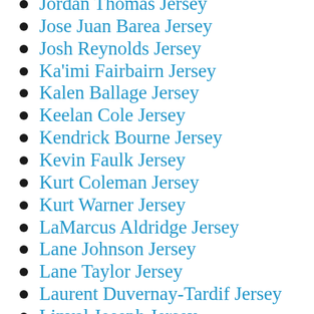Jordan Thomas Jersey
Jose Juan Barea Jersey
Josh Reynolds Jersey
Ka'imi Fairbairn Jersey
Kalen Ballage Jersey
Keelan Cole Jersey
Kendrick Bourne Jersey
Kevin Faulk Jersey
Kurt Coleman Jersey
Kurt Warner Jersey
LaMarcus Aldridge Jersey
Lane Johnson Jersey
Lane Taylor Jersey
Laurent Duvernay-Tardif Jersey
Linval Joseph Jersey
Luke Willson Jersey
Malik Jefferson Jersey